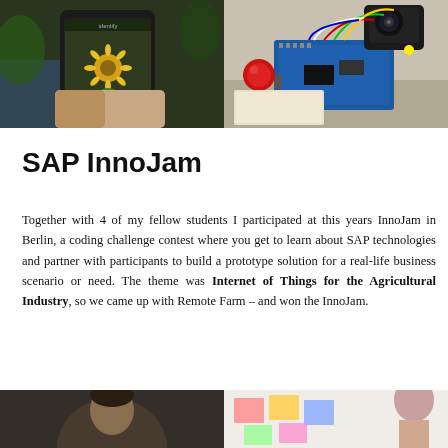[Figure (photo): Person holding a smartphone showing a plant identification app with a sunflower on screen, with a plant visible in the background]
[Figure (photo): Electronics hardware setup on a table: Arduino board with wires, a GoPro camera, a red button, and various electronic components]
SAP InnoJam
Together with 4 of my fellow students I participated at this years InnoJam in Berlin, a coding challenge contest where you get to learn about SAP technologies and partner with participants to build a prototype solution for a real-life business scenario or need. The theme was Internet of Things for the Agricultural Industry, so we came up with Remote Farm – and won the InnoJam.
[Figure (photo): Partial view of a person at bottom left]
[Figure (photo): Partial view of people at bottom right]